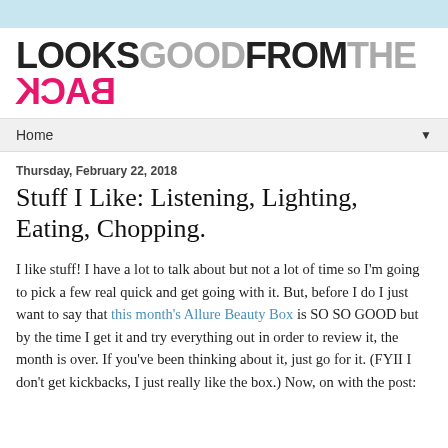[Figure (logo): LOOKSGOODFROMTHEBACK logo in large bold text, with LOOKS and FROM in dark/black, GOOD and THE in gray, and BACK in mirrored pink/magenta]
Home ▼
Thursday, February 22, 2018
Stuff I Like: Listening, Lighting, Eating, Chopping.
I like stuff! I have a lot to talk about but not a lot of time so I'm going to pick a few real quick and get going with it. But, before I do I just want to say that this month's Allure Beauty Box is SO SO GOOD but by the time I get it and try everything out in order to review it, the month is over. If you've been thinking about it, just go for it. (FYII I don't get kickbacks, I just really like the box.) Now, on with the post: